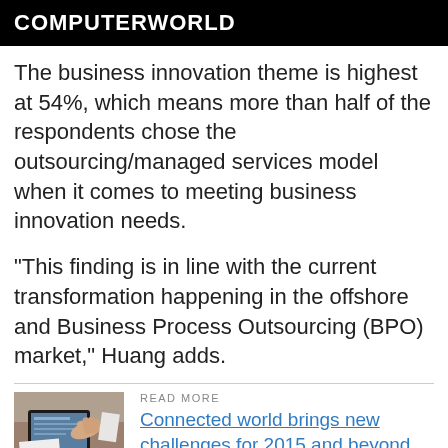COMPUTERWORLD
The business innovation theme is highest at 54%, which means more than half of the respondents chose the outsourcing/managed services model when it comes to meeting business innovation needs.
"This finding is in line with the current transformation happening in the offshore and Business Process Outsourcing (BPO) market," Huang adds.
[Figure (photo): Person using a tablet device on a desk, viewed from above]
READ MORE
Connected world brings new challenges for 2015 and beyond
"Customers who are currently outsourcing their